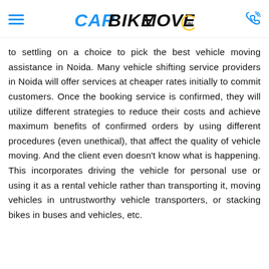CARBIKEMOVERS.IN
to settling on a choice to pick the best vehicle moving assistance in Noida. Many vehicle shifting service providers in Noida will offer services at cheaper rates initially to commit customers. Once the booking service is confirmed, they will utilize different strategies to reduce their costs and achieve maximum benefits of confirmed orders by using different procedures (even unethical), that affect the quality of vehicle moving. And the client even doesn't know what is happening. This incorporates driving the vehicle for personal use or using it as a rental vehicle rather than transporting it, moving vehicles in untrustworthy vehicle transporters, or stacking bikes in buses and vehicles, etc.